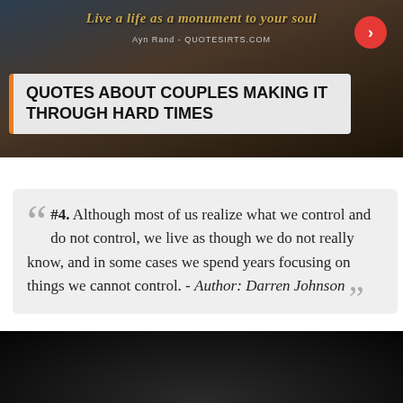[Figure (photo): Dark landscape background image with golden italic text reading 'Live a life as a monument to your soul' and attribution 'Ayn Rand - QUOTESIRTS.COM', with a red circular navigation arrow button on the right]
QUOTES ABOUT COUPLES MAKING IT THROUGH HARD TIMES
#4. Although most of us realize what we control and do not control, we live as though we do not really know, and in some cases we spend years focusing on things we cannot control. - Author: Darren Johnson
[Figure (photo): Dark background image, partially visible at the bottom of the page]